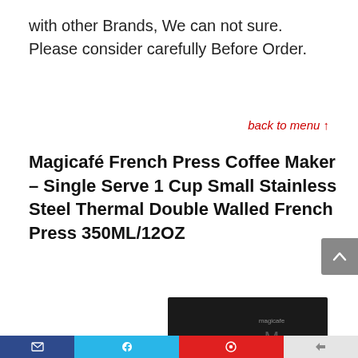with other Brands, We can not sure. Please consider carefully Before Order.
back to menu ↑
Magicafé French Press Coffee Maker – Single Serve 1 Cup Small Stainless Steel Thermal Double Walled French Press 350ML/12OZ
[Figure (photo): Product image of Magicafé French Press Coffee Maker in a black box, with a -45% discount badge in green circle]